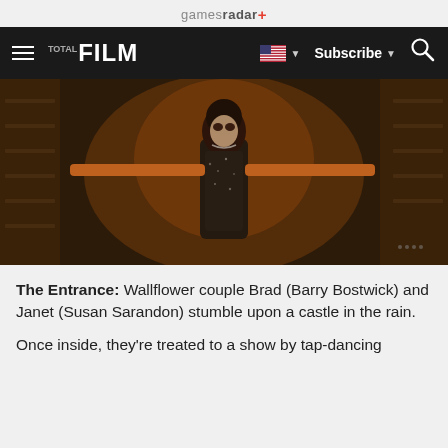gamesradar+
FILM — Subscribe — Search
[Figure (photo): A performer in elaborate costume with arms outstretched on a dark stage set, from The Rocky Horror Picture Show]
The Entrance: Wallflower couple Brad (Barry Bostwick) and Janet (Susan Sarandon) stumble upon a castle in the rain.
Once inside, they're treated to a show by tap-dancing